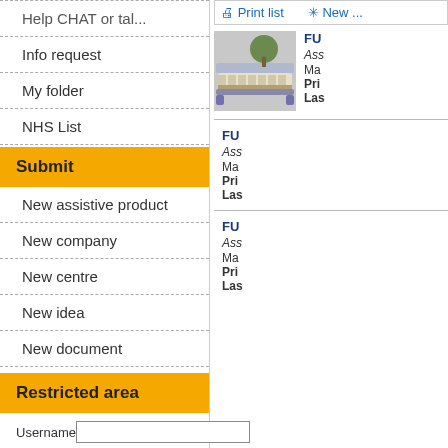Info request
My folder
NHS List
Submit
New assistive product
New company
New centre
New idea
New document
Restricted area
Username
Password
Forgot your password or username?
Sign in
Print list   New
[Figure (photo): Photo of a hospital bed with pressure mattress]
FU
Ass
Ma
Pri
Las
FU
Ass
Ma
Pri
Las
FU
Ass
Ma
Pri
Las